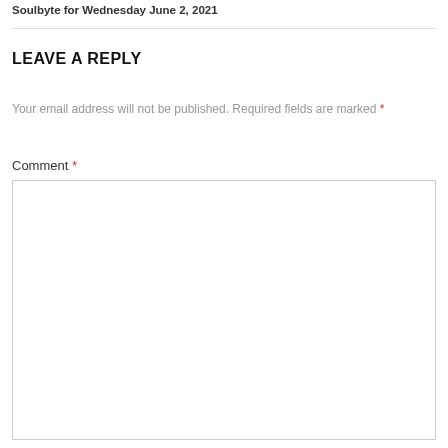Soulbyte for Wednesday June 2, 2021
LEAVE A REPLY
Your email address will not be published. Required fields are marked *
Comment *